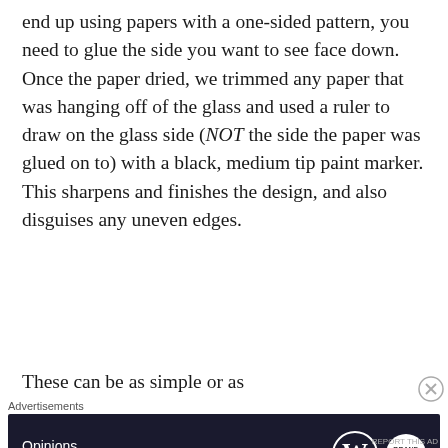end up using papers with a one-sided pattern, you need to glue the side you want to see face down. Once the paper dried, we trimmed any paper that was hanging off of the glass and used a ruler to draw on the glass side (NOT the side the paper was glued on to) with a black, medium tip paint marker. This sharpens and finishes the design, and also disguises any uneven edges.
These can be as simple or as
Advertisements
[Figure (other): Dark navy advertisement banner reading 'Opinions. We all have them!' with WordPress logo and another circular brand logo on the right.]